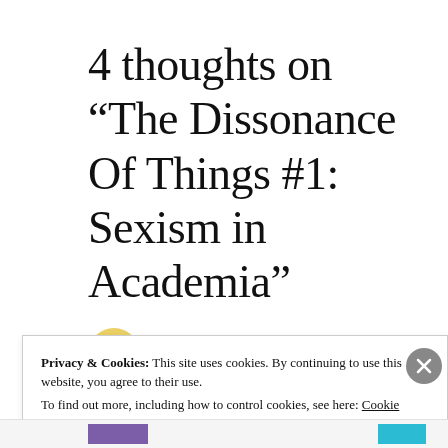4 thoughts on “The Dissonance Of Things #1: Sexism in Academia”
Privacy & Cookies: This site uses cookies. By continuing to use this website, you agree to their use. To find out more, including how to control cookies, see here: Cookie Policy